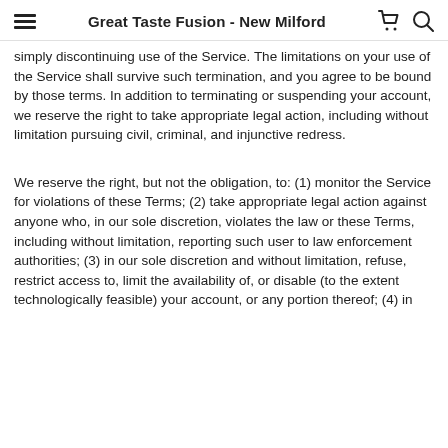≡  Great Taste Fusion - New Milford  🛒  🔍
simply discontinuing use of the Service. The limitations on your use of the Service shall survive such termination, and you agree to be bound by those terms. In addition to terminating or suspending your account, we reserve the right to take appropriate legal action, including without limitation pursuing civil, criminal, and injunctive redress.
We reserve the right, but not the obligation, to: (1) monitor the Service for violations of these Terms; (2) take appropriate legal action against anyone who, in our sole discretion, violates the law or these Terms, including without limitation, reporting such user to law enforcement authorities; (3) in our sole discretion and without limitation, refuse, restrict access to, limit the availability of, or disable (to the extent technologically feasible) your account, or any portion thereof; (4) in